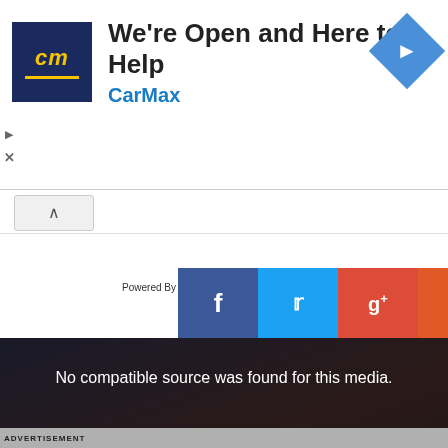[Figure (screenshot): CarMax advertisement banner with logo, headline 'We're Open and Here to Help', subtext 'CarMax', and a blue diamond navigation arrow icon on the right]
[Figure (screenshot): Video player showing error message 'No compatible source was found for this media.' overlaid on a dark cinema background with audience silhouette. An X symbol is centered. Social share buttons (Facebook, Twitter, Google+) appear top-right. An orange upload button is bottom-right. A 'Powered By' label is beside the share bar.]
ADVERTISEMENT